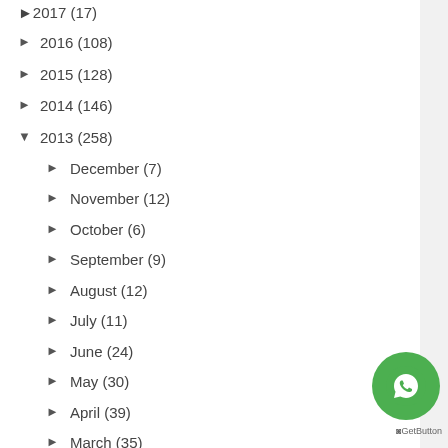► 2017 (17)
► 2016 (108)
► 2015 (128)
► 2014 (146)
▼ 2013 (258)
► December (7)
► November (12)
► October (6)
► September (9)
► August (12)
► July (11)
► June (24)
► May (30)
► April (39)
► March (35)
► February (30)